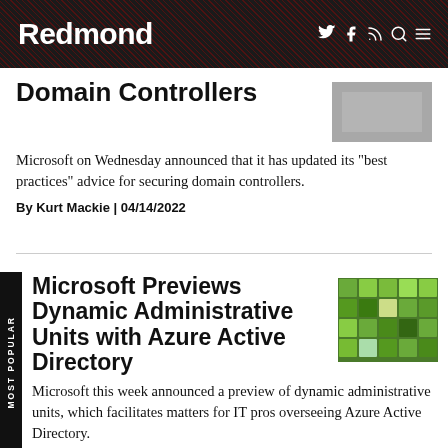Redmond
Domain Controllers
Microsoft on Wednesday announced that it has updated its "best practices" advice for securing domain controllers.
By Kurt Mackie | 04/14/2022
Microsoft Previews Dynamic Administrative Units with Azure Active Directory
Microsoft this week announced a preview of dynamic administrative units, which facilitates matters for IT pros overseeing Azure Active Directory.
By Kurt Mackie | 04/14/2022